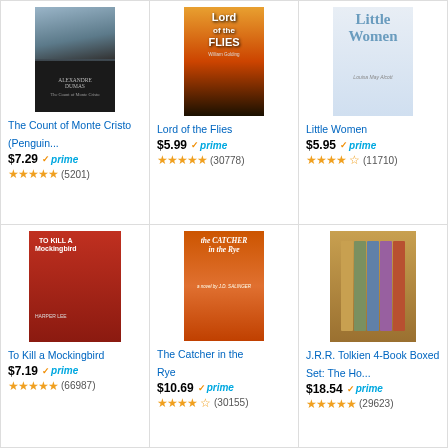[Figure (photo): Book cover: The Count of Monte Cristo (Penguin edition), dark mountain landscape on top, black lower half with author name Alexandre Dumas]
The Count of Monte Cristo (Penguin...
$7.29 prime
★★★★★ (5201)
[Figure (photo): Book cover: Lord of the Flies, fiery orange/red background with dark figure and flies text]
Lord of the Flies
$5.99 prime
★★★★★ (30778)
[Figure (photo): Book cover: Little Women by Louisa May Alcott, light blue/white illustrated cover]
Little Women
$5.95 prime
★★★★☆ (11710)
[Figure (photo): Book cover: To Kill a Mockingbird by Harper Lee, red background with tree silhouette]
To Kill a Mockingbird
$7.19 prime
★★★★★ (66987)
[Figure (photo): Book cover: The Catcher in the Rye by J.D. Salinger, orange/red illustrated cover]
The Catcher in the Rye
$10.69 prime
★★★★☆ (30155)
[Figure (photo): J.R.R. Tolkien 4-Book Boxed Set including The Hobbit and Lord of the Rings, brown/gold spines]
J.R.R. Tolkien 4-Book Boxed Set: The Ho...
$18.54 prime
★★★★★ (29623)